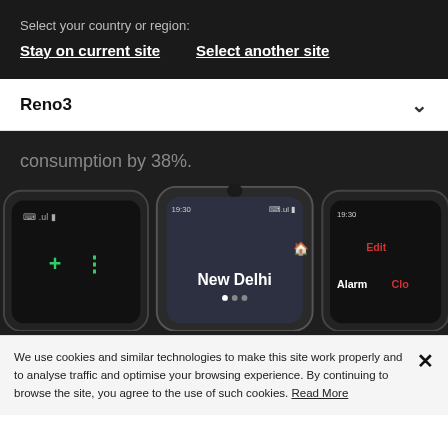Select your country or region:
Stay on current site    Select another site
Reno3
consumption by 38%.
[Figure (photo): Three smartphones displayed side by side on a dark background. The center phone shows a clock app with 'New Delhi' and time 19:30. The left phone shows a dark screen with green icons. The right phone shows a similar clock interface with 'Edit', 'Alarm', 'Clo' labels and red text.]
We use cookies and similar technologies to make this site work properly and to analyse traffic and optimise your browsing experience. By continuing to browse the site, you agree to the use of such cookies. Read More